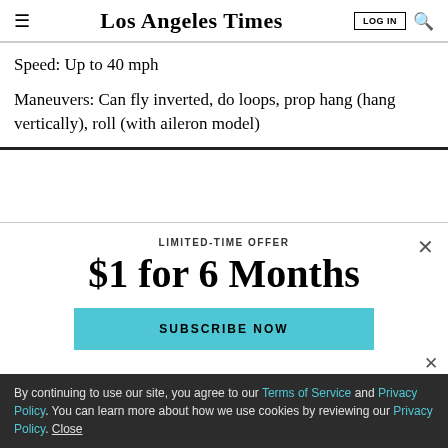Los Angeles Times
Speed: Up to 40 mph
Maneuvers: Can fly inverted, do loops, prop hang (hang vertically), roll (with aileron model)
LIMITED-TIME OFFER
$1 for 6 Months
SUBSCRIBE NOW
By continuing to use our site, you agree to our Terms of Service and Privacy Policy. You can learn more about how we use cookies by reviewing our Privacy Policy. Close